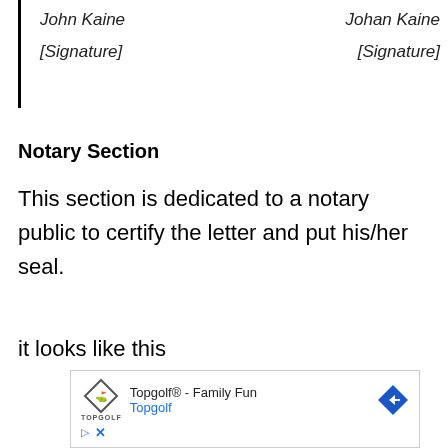John Kaine [Signature]    Johan Kaine [Signature]
Notary Section
This section is dedicated to a notary public to certify the letter and put his/her seal.
it looks like this
[Figure (screenshot): Advertisement for Topgolf® - Family Fun, showing Topgolf logo, navigation arrow icon, and ad controls (play and close buttons).]